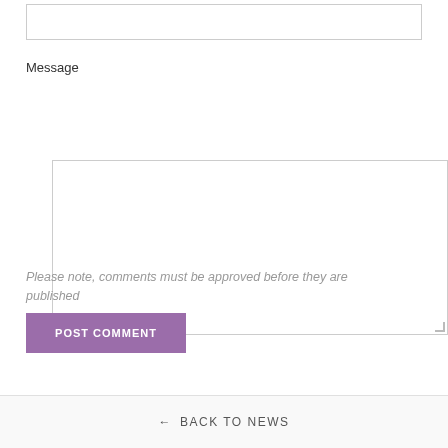[Figure (screenshot): An input text field (empty) at the top of a comment form]
Message
[Figure (screenshot): A large textarea input box for message content]
Please note, comments must be approved before they are published
POST COMMENT
← BACK TO NEWS